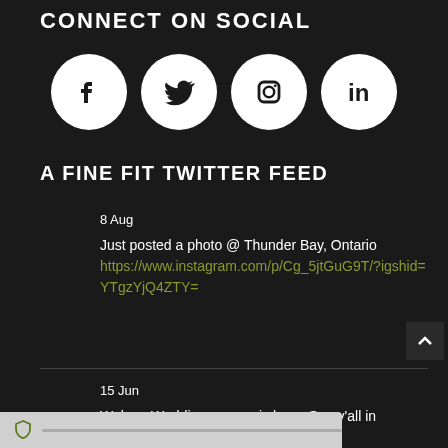CONNECT ON SOCIAL
[Figure (illustration): Four social media icons in white circles on dark background: Facebook (f), Twitter (bird), Instagram (camera), LinkedIn (in)]
A FINE FIT TWITTER FEED
8 Aug
Just posted a photo @ Thunder Bay, Ontario
https://www.instagram.com/p/Cg_5jtGuG9T/?igshid=YTgzYjQ4ZTY=
15 Jun
Welp.... Wedding season is here. See y'all in October 🤵